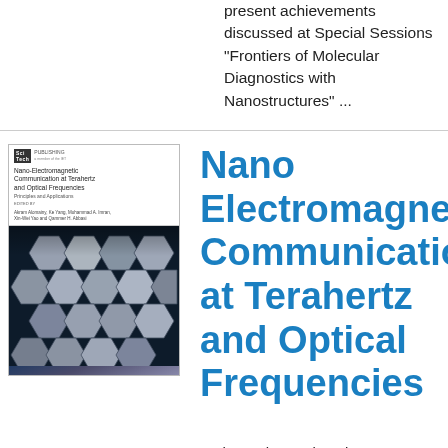present achievements discussed at Special Sessions "Frontiers of Molecular Diagnostics with Nanostructures" ...
[Figure (photo): Book cover of 'Nano-Electromagnetic Communication at Terahertz and Optical Frequencies: Principles and Applications' showing hexagonal nanostructures on a dark blue background, published by SciTech]
Nano Electromagnetic Communication at Terahertz and Optical Frequencies
Author : Akram Alomainy,Ke Yang,Muhammad A. Imran,Xin-Wei